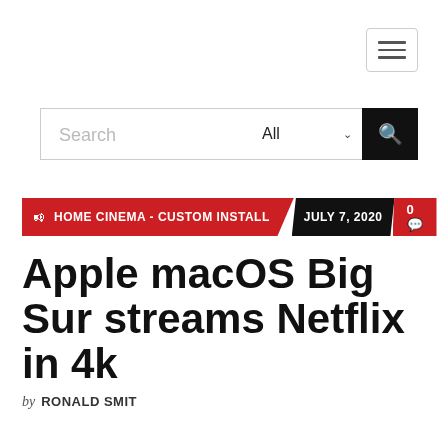[Figure (other): Hamburger menu button (three horizontal lines) in a rounded rectangle border, top right]
[Figure (other): Search bar with text input placeholder 'Search', a dropdown selector showing 'All' with chevron, and a black search button with magnifying glass icon]
HOME CINEMA - CUSTOM INSTALL  JULY 7, 2020  0
Apple macOS Big Sur streams Netflix in 4k
by RONALD SMIT